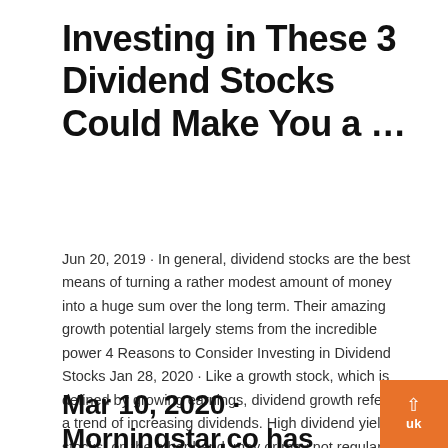Investing in These 3 Dividend Stocks Could Make You a …
Jun 20, 2019 · In general, dividend stocks are the best means of turning a rather modest amount of money into a huge sum over the long term. Their amazing growth potential largely stems from the incredible power 4 Reasons to Consider Investing in Dividend Stocks Jan 28, 2020 · Like a growth stock, which is defined by growing earnings, dividend growth refers to a trend of increasing dividends. High dividend yield stocks, on the other hand, may or may not regularly increase their dividend amounts, but they're already disbursing dividends at a … UK Dividend Aristocrats list - MoneyInvestExpert.com
Mar 10, 2020 · Morningstar.co has filtered 20 income shares